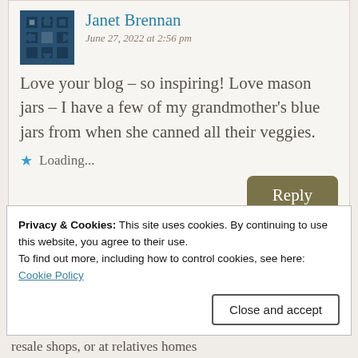Janet Brennan
June 27, 2022 at 2:56 pm
Love your blog – so inspiring! Love mason jars – I have a few of my grandmother's blue jars from when she canned all their veggies.
Loading...
Reply
Privacy & Cookies: This site uses cookies. By continuing to use this website, you agree to their use.
To find out more, including how to control cookies, see here:
Cookie Policy
Close and accept
resale shops, or at relatives homes